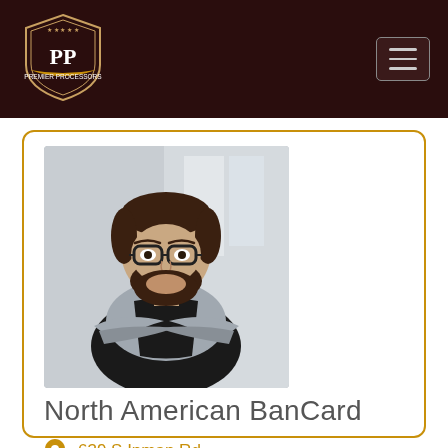[Figure (logo): Premium Processors shield logo with PP monogram in white on dark brown background, orange ribbon banner reading 'Premier Processors']
[Figure (photo): Smiling bearded man with glasses wearing a black apron with arms crossed, standing in a restaurant or cafe setting]
North American BanCard
639 S Inman Rd
West Covina, California 91791